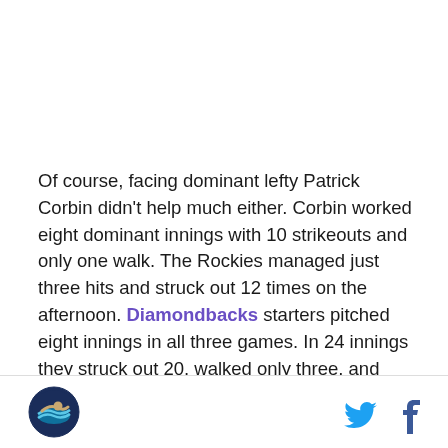Of course, facing dominant lefty Patrick Corbin didn't help much either. Corbin worked eight dominant innings with 10 strikeouts and only one walk. The Rockies managed just three hits and struck out 12 times on the afternoon. Diamondbacks starters pitched eight innings in all three games. In 24 innings they struck out 20, walked only three, and surrendered just 11 hits. Carlos Gonzalez provided five of those hits in just two games played. So, a combined six hits came from the rest of the lineup in three games.
[Figure (logo): Circular sports team logo in navy blue and teal]